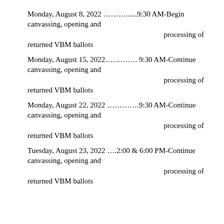Monday, August 8, 2022 ………......9:30 AM-Begin canvassing, opening and processing of returned VBM ballots
Monday, August 15, 2022…………. 9:30 AM-Continue canvassing, opening and processing of returned VBM ballots
Monday, August 22, 2022 ………….9:30 AM-Continue canvassing, opening and processing of returned VBM ballots
Tuesday, August 23, 2022 ….2:00 & 6:00 PM-Continue canvassing, opening and processing of returned VBM ballots